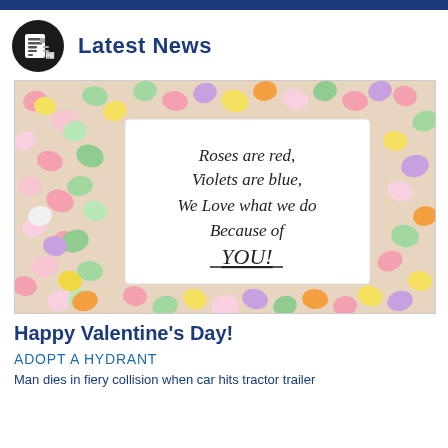Latest News
[Figure (photo): Photo of colorful candy hearts surrounding a white card with handwritten poem: 'Roses are red, Violets are blue, We Love what we do Because of YOU!']
Happy Valentine's Day!
ADOPT A HYDRANT
Man dies in fiery collision when car hits tractor trailer